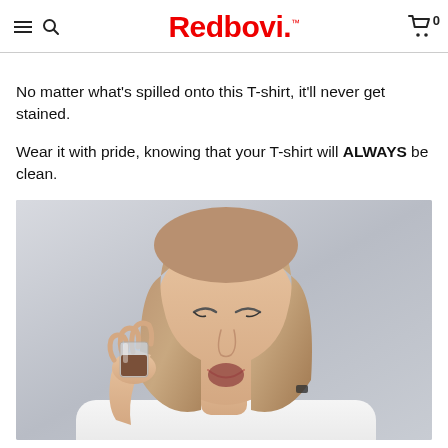Redbovi.
No matter what's spilled onto this T-shirt, it'll never get stained.
Wear it with pride, knowing that your T-shirt will ALWAYS be clean.
[Figure (photo): A woman in a white T-shirt holding a glass with liquid, looking down at it with a surprised expression, about to spill it.]